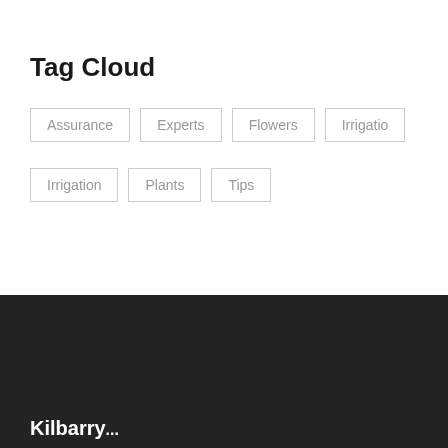Tag Cloud
Assurance
Experts
Flowers
Irrigatio
Irrigation
Plants
Tips
Kilbarry...